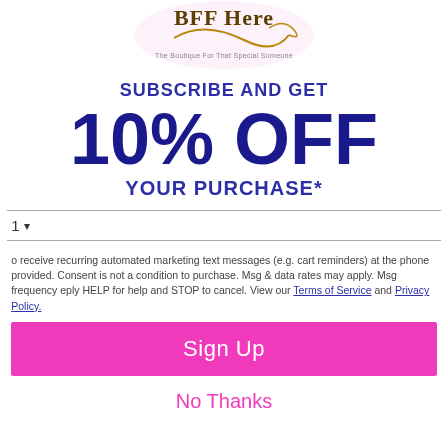[Figure (logo): BFF Here logo with cursive text and decorative swirl, subtitle 'The Boutique For That Special Someone']
SUBSCRIBE AND GET
10% OFF
YOUR PURCHASE*
1 ▾
o receive recurring automated marketing text messages (e.g. cart reminders) at the phone provided. Consent is not a condition to purchase. Msg & data rates may apply. Msg frequency eply HELP for help and STOP to cancel. View our Terms of Service and Privacy Policy.
Sign Up
No Thanks